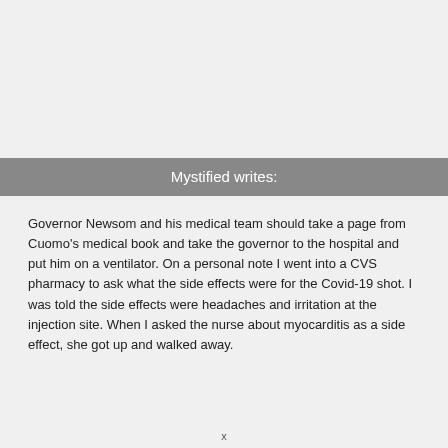Mystified writes:
Governor Newsom and his medical team should take a page from Cuomo's medical book and take the governor to the hospital and put him on a ventilator. On a personal note I went into a CVS pharmacy to ask what the side effects were for the Covid-19 shot. I was told the side effects were headaches and irritation at the injection site. When I asked the nurse about myocarditis as a side effect, she got up and walked away.
x